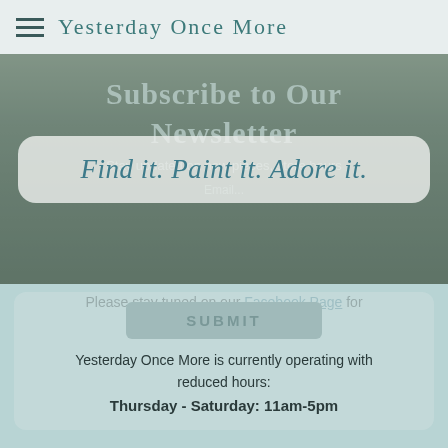Yesterday Once More
Find it. Paint it. Adore it.
[Figure (photo): Interior of a shop/store showing furniture and display shelves, used as a hero background image with overlay text about a newsletter subscription]
SUBMIT
Yesterday Once More is currently operating with reduced hours:
Thursday - Saturday: 11am-5pm
Please stay tuned on our Facebook Page for updates.